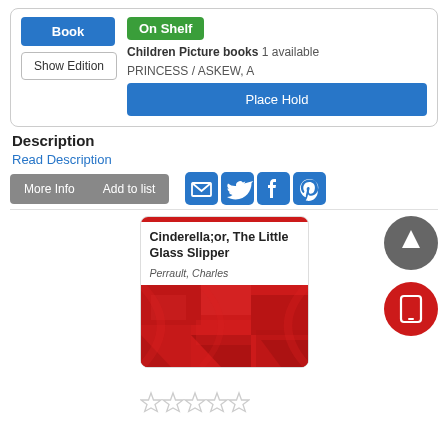Book
Show Edition
On Shelf
Children Picture books  1 available
PRINCESS / ASKEW, A
Place Hold
Description
Read Description
More Info
Add to list
[Figure (screenshot): Social share icons: email, twitter, facebook, pinterest]
[Figure (illustration): Book cover for Cinderella;or, The Little Glass Slipper by Perrault, Charles — red geometric abstract design]
Cinderella;or, The Little Glass Slipper
Perrault, Charles
[Figure (illustration): 5 empty star rating icons below the book card]
[Figure (illustration): Scroll-to-top button (grey circle with up arrow) and mobile/tablet button (red circle with tablet icon)]